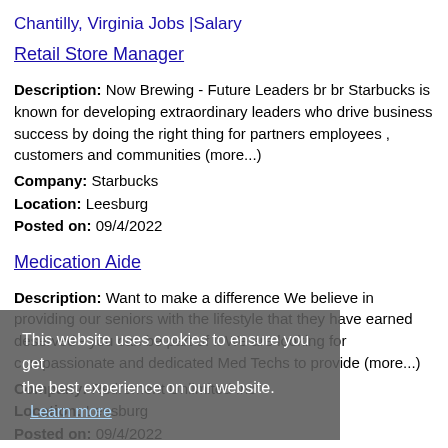Chantilly, Virginia Jobs |Salary
Retail Store Manager
Description: Now Brewing - Future Leaders br br Starbucks is known for developing extraordinary leaders who drive business success by doing the right thing for partners employees , customers and communities (more...)
Company: Starbucks
Location: Leesburg
Posted on: 09/4/2022
Medication Aide
Description: Want to make a difference We believe in providing our seniors with the lifestyle that they have earned deserved - you can be part of it We are looking for compassionate and dedicated Med Techs to provide (more...)
Company: Retirement Unlimited Inc
Location: Leesburg
Posted on: 09/4/2022
This website uses cookies to ensure you get the best experience on our website. Learn more
Travel Nurse RN - OR - Operating Room - $3,743 per week, Days
Description: IDR Healthcare is seeking a travel nurse RN OR - Operating Room for a travel nursing job in Leesburg, Virginia.Job